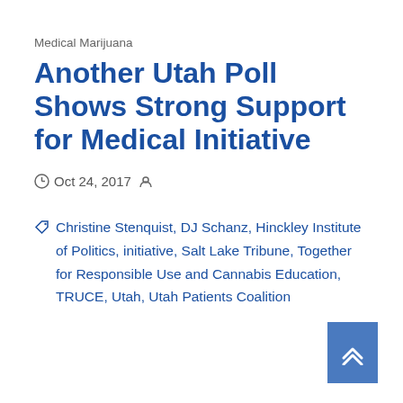Medical Marijuana
Another Utah Poll Shows Strong Support for Medical Initiative
Oct 24, 2017
Christine Stenquist, DJ Schanz, Hinckley Institute of Politics, initiative, Salt Lake Tribune, Together for Responsible Use and Cannabis Education, TRUCE, Utah, Utah Patients Coalition